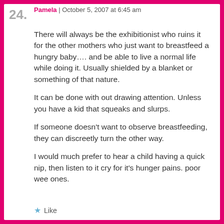24. Pamela | October 5, 2007 at 6:45 am
There will always be the exhibitionist who ruins it for the other mothers who just want to breastfeed a hungry baby…. and be able to live a normal life while doing it. Usually shielded by a blanket or something of that nature.
It can be done with out drawing attention. Unless you have a kid that squeaks and slurps.
If someone doesn't want to observe breastfeeding, they can discreetly turn the other way.
I would much prefer to hear a child having a quick nip, then listen to it cry for it's hunger pains. poor wee ones.
Like